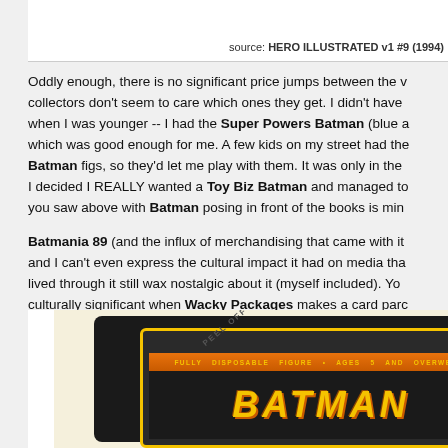source: HERO ILLUSTRATED v1 #9 (1994)
Oddly enough, there is no significant price jumps between the v... collectors don't seem to care which ones they get. I didn't have when I was younger -- I had the Super Powers Batman (blue a... which was good enough for me. A few kids on my street had the Batman figs, so they'd let me play with them. It was only in the I decided I REALLY wanted a Toy Biz Batman and managed to you saw above with Batman posing in front of the books is min...
Batmania 89 (and the influx of merchandising that came with it and I can't even express the cultural impact it had on media tha... lived through it still wax nostalgic about it (myself included). Yo... culturally significant when Wacky Packages makes a card parc...
[Figure (photo): A parody trading card or sticker showing 'FULLY DISPOSABLE FIGURE • AGES 5 AND OVERWEIGH' text with Batman-style lettering in yellow on dark background, styled like a Wacky Packages card parody]